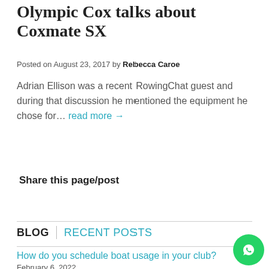Olympic Cox talks about Coxmate SX
Posted on August 23, 2017 by Rebecca Caroe
Adrian Ellison was a recent RowingChat guest and during that discussion he mentioned the equipment he chose for… read more →
Share this page/post
BLOG | RECENT POSTS
How do you schedule boat usage in your club?
February 6, 2022